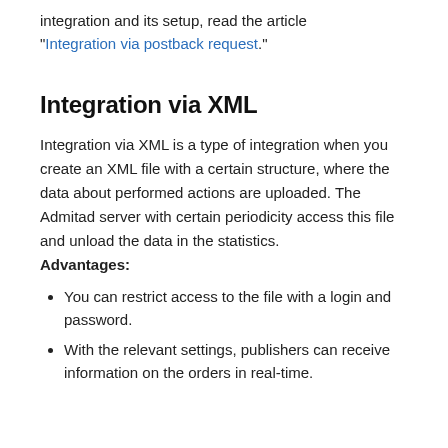integration and its setup, read the article "Integration via postback request."
Integration via XML
Integration via XML is a type of integration when you create an XML file with a certain structure, where the data about performed actions are uploaded. The Admitad server with certain periodicity access this file and unload the data in the statistics. Advantages:
You can restrict access to the file with a login and password.
With the relevant settings, publishers can receive information on the orders in real-time.